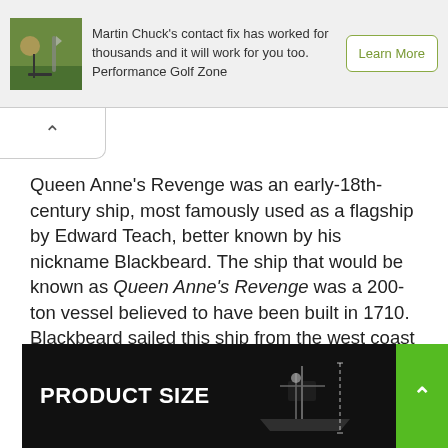[Figure (photo): Advertisement banner with golf image, text about Martin Chuck's contact fix, and Learn More button]
Queen Anne's Revenge was an early-18th-century ship, most famously used as a flagship by Edward Teach, better known by his nickname Blackbeard. The ship that would be known as Queen Anne's Revenge was a 200-ton vessel believed to have been built in 1710. Blackbeard sailed this ship from the west coast of Africa to the Caribbean, attacking British, Dutch, and Portuguese merchant ships along the way.
Over 4 hours of assembly. Great gift for young DIYers.
[Figure (photo): Product Size banner showing a ship model diagram with measurements on dark background]